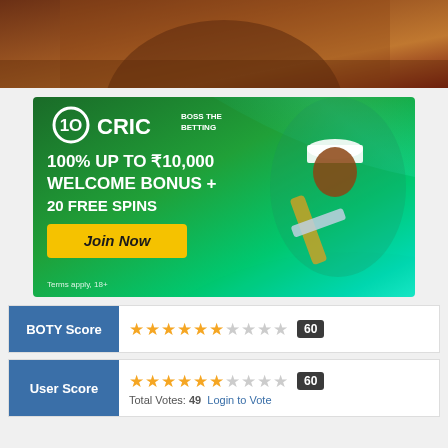[Figure (photo): Partial photo of a person, cropped at top of page, dark reddish-brown tones]
[Figure (illustration): 10CRIC online betting advertisement banner. Green background with a cricketer. Text: BOSS THE BETTING. 100% UP TO ₹10,000 WELCOME BONUS + 20 FREE SPINS. Join Now button. Terms apply, 18+]
| BOTY Score | ★★★★★★☆☆☆☆ 60 |
| User Score | ★★★★★★☆☆☆☆ 60
Total Votes: 49  Login to Vote |